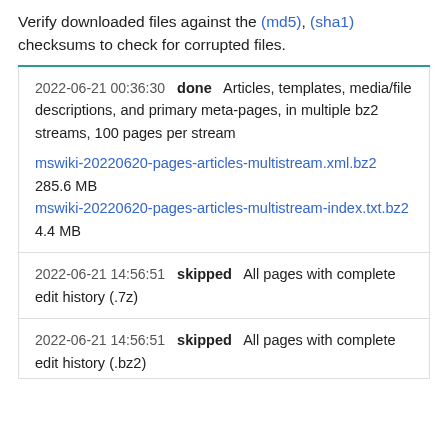Verify downloaded files against the (md5), (sha1) checksums to check for corrupted files.
2022-06-21 00:36:30  done  Articles, templates, media/file descriptions, and primary meta-pages, in multiple bz2 streams, 100 pages per stream
mswiki-20220620-pages-articles-multistream.xml.bz2 285.6 MB
mswiki-20220620-pages-articles-multistream-index.txt.bz2 4.4 MB
2022-06-21 14:56:51  skipped  All pages with complete edit history (.7z)
2022-06-21 14:56:51  skipped  All pages with complete edit history (.bz2)